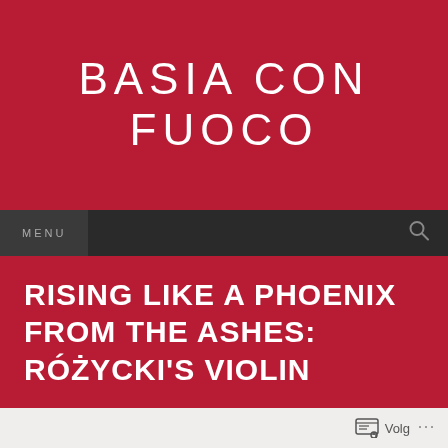BASIA CON FUOCO
MENU
RISING LIKE A PHOENIX FROM THE ASHES: RÓŻYCKI'S VIOLIN
Volg ...